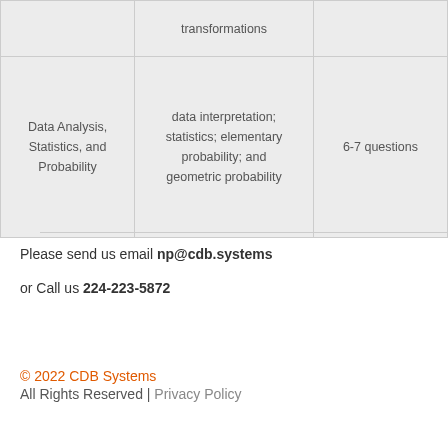|  |  |  |
| --- | --- | --- |
|  | transformations |  |
| Data Analysis, Statistics, and Probability | data interpretation; statistics; elementary probability; and geometric probability | 6-7 questions |
Please send us email np@cdb.systems
or Call us 224-223-5872
© 2022 CDB Systems
All Rights Reserved | Privacy Policy